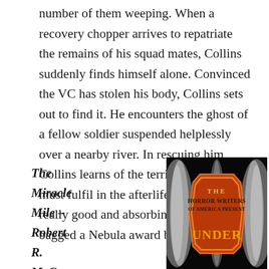number of them weeping. When a recovery chopper arrives to repatriate the remains of his squad mates, Collins suddenly finds himself alone. Convinced the VC has stolen his body, Collins sets out to find it. He encounters the ghost of a fellow soldier suspended helplessly over a nearby river. In rescuing him, Collins learns of the terrible role he now must fulfil in the afterlife. This is a really good and absorbing read which bagged a Nebula award back in the day.)
The Miracle Mile – Robert R. McCam
[Figure (photo): Book cover of 'The Horror Writers of America Present: Under' — dark background with a red/orange coffin-shaped badge bearing bold text]